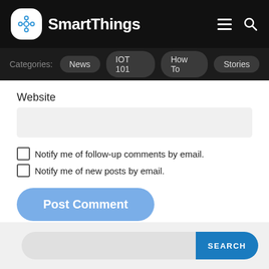SmartThings
Categories: News | IOT 101 | How To | Stories
Website
Notify me of follow-up comments by email.
Notify me of new posts by email.
Post Comment
SEARCH